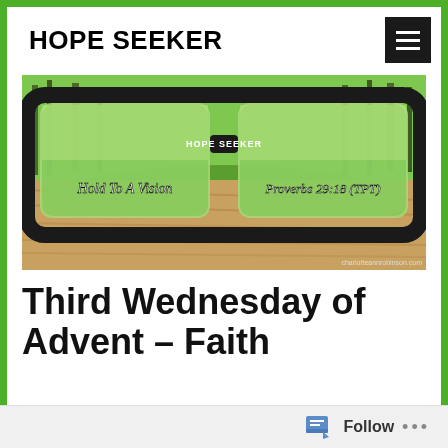HOPE SEEKER
[Figure (photo): Eyeglasses with black frames on a wooden surface, lenses showing a green forest scene. Text on lenses reads 'Hold To A Vision' (left) and 'Proverbs 29:18 (TPT)' (right). 'HOPE SEEKER' text on the frame bridge. Watermark: charlotteannrobinson.com]
Third Wednesday of Advent – Faith
Wednesday, December 19, 2018
Follow